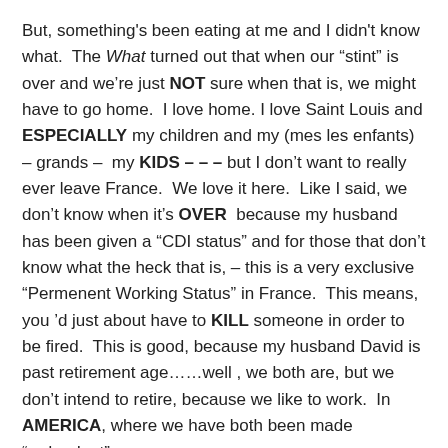But, something's been eating at me and I didn't know what.  The What turned out that when our "stint" is over and we're just NOT sure when that is, we might have to go home.  I love home. I love Saint Louis and ESPECIALLY my children and my (mes les enfants) – grands –  my KIDS – – – but I don't want to really ever leave France.  We love it here.  Like I said, we don't know when it's OVER  because my husband has been given a "CDI status" and for those that don't know what the heck that is, – this is a very exclusive "Permenent Working Status" in France.  This means, you 'd just about have to KILL someone in order to be fired.  This is good, because my husband David is past retirement age……well , we both are, but we don't intend to retire, because we like to work.  In AMERICA, where we have both been made "redundant"